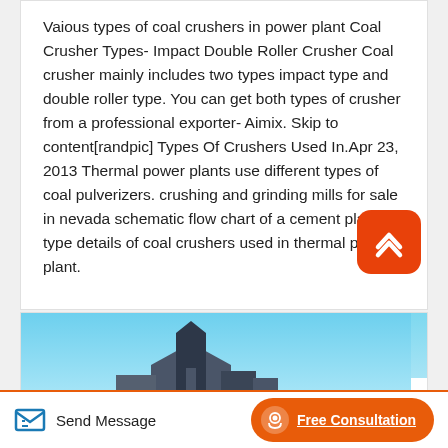Vaious types of coal crushers in power plant Coal Crusher Types- Impact Double Roller Crusher Coal crusher mainly includes two types impact type and double roller type. You can get both types of crusher from a professional exporter- Aimix. Skip to content[randpic] Types Of Crushers Used In.Apr 23, 2013 Thermal power plants use different types of coal pulverizers. crushing and grinding mills for sale in nevada schematic flow chart of a cement plant type details of coal crushers used in thermal power plant.
[Figure (photo): Partial view of an industrial building or power plant structure against a blue sky, shown cropped at the bottom of the visible area.]